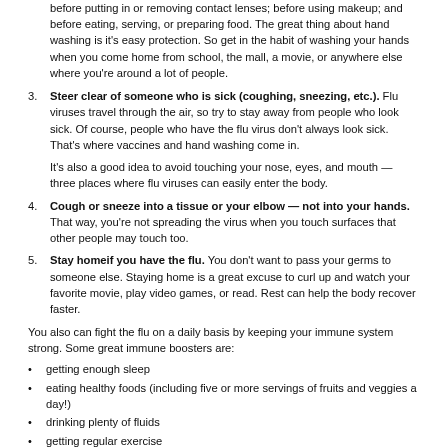before putting in or removing contact lenses; before using makeup; and before eating, serving, or preparing food. The great thing about hand washing is it's easy protection. So get in the habit of washing your hands when you come home from school, the mall, a movie, or anywhere else where you're around a lot of people.
3. Steer clear of someone who is sick (coughing, sneezing, etc.). Flu viruses travel through the air, so try to stay away from people who look sick. Of course, people who have the flu virus don't always look sick. That's where vaccines and hand washing come in.

It's also a good idea to avoid touching your nose, eyes, and mouth — three places where flu viruses can easily enter the body.
4. Cough or sneeze into a tissue or your elbow — not into your hands. That way, you're not spreading the virus when you touch surfaces that other people may touch too.
5. Stay homeif you have the flu. You don't want to pass your germs to someone else. Staying home is a great excuse to curl up and watch your favorite movie, play video games, or read. Rest can help the body recover faster.
You also can fight the flu on a daily basis by keeping your immune system strong. Some great immune boosters are:
getting enough sleep
eating healthy foods (including five or more servings of fruits and veggies a day!)
drinking plenty of fluids
getting regular exercise
Don't let the flu mess with your fall and winter fun. Fight back!